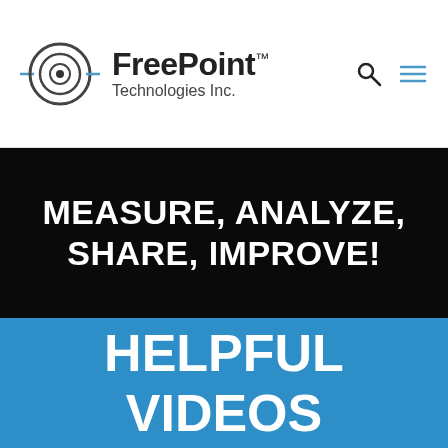[Figure (logo): FreePoint Technologies Inc. logo with concentric circle target icon and company name]
MEASURE, ANALYZE, SHARE, IMPROVE!
HELPFUL VIDEOS
Explore these helpful videos about FreePoint Technologies Inc. and our featured products.